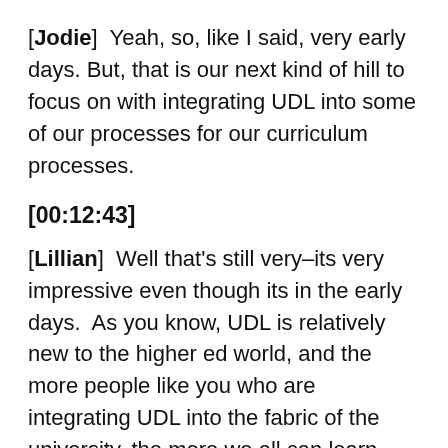[Jodie]  Yeah, so, like I said, very early days. But, that is our next kind of hill to focus on with integrating UDL into some of our processes for our curriculum processes.
[00:12:43]
[Lillian]  Well that's still very–its very impressive even though its in the early days.  As you know, UDL is relatively new to the higher ed world, and the more people like you who are integrating UDL into the fabric of the university, the more we all can learn from it and other universities could follow suit.  So, I'm glad to see that you're already starting that, and